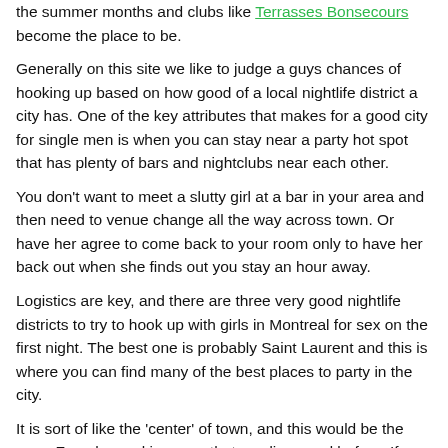the summer months and clubs like Terrasses Bonsecours become the place to be.
Generally on this site we like to judge a guys chances of hooking up based on how good of a local nightlife district a city has. One of the key attributes that makes for a good city for single men is when you can stay near a party hot spot that has plenty of bars and nightclubs near each other.
You don't want to meet a slutty girl at a bar in your area and then need to venue change all the way across town. Or have her agree to come back to your room only to have her back out when she finds out you stay an hour away.
Logistics are key, and there are three very good nightlife districts to try to hook up with girls in Montreal for sex on the first night. The best one is probably Saint Laurent and this is where you can find many of the best places to party in the city.
It is sort of like the 'center' of town, and this would be the more French speaking area that we discussed before. If you polled...